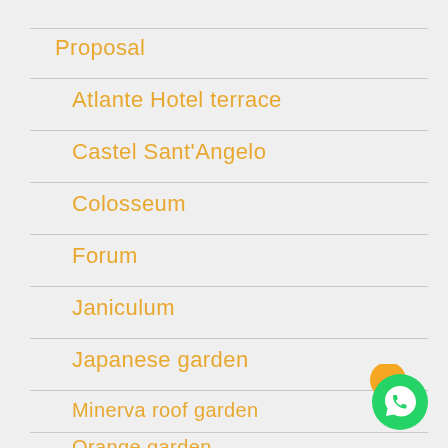Proposal
Atlante Hotel terrace
Castel Sant'Angelo
Colosseum
Forum
Janiculum
Japanese garden
Minerva roof garden
Orange garden
[Figure (logo): WhatsApp logo button — green circle with white phone/chat icon]